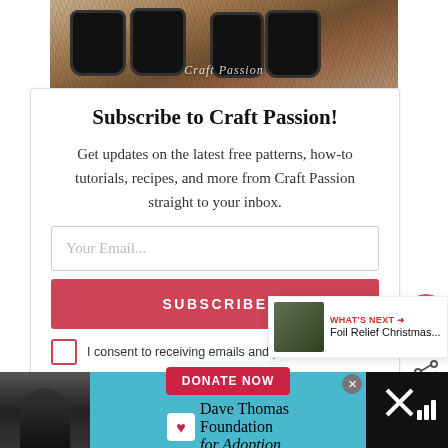[Figure (photo): Photo of black crocheted dog booties/socks on ground with pine needles, with 'Craft Passion' watermark text overlay]
Subscribe to Craft Passion!
Get updates on the latest free patterns, how-to tutorials, recipes, and more from Craft Passion straight to your inbox.
Your Email...
SUBSCRIBE
I consent to receiving emails and personalized ads
113
WHAT'S NEXT → Foil Relief Christmas...
[Figure (photo): Bottom advertisement bar for Dave Thomas Foundation for Adoption with Donate Now button, woman's photo on left, and X close button]
DONATE NOW
Dave Thomas Foundation for Adoption